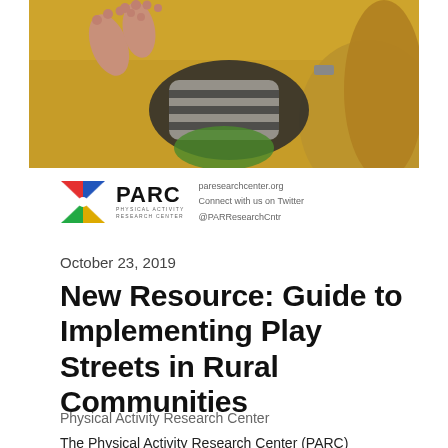[Figure (photo): Photo of a young child lying on a yellow surface, wearing a striped shirt and colorful shorts, viewed from below/side.]
[Figure (logo): PARC Physical Activity Research Center logo with colorful hourglass icon, text 'PARC' in bold, 'PHYSICAL ACTIVITY RESEARCH CENTER' subtitle, and contact info: paresearchcenter.org, Connect with us on Twitter @PARResearchCntr]
October 23, 2019
New Resource: Guide to Implementing Play Streets in Rural Communities
Physical Activity Research Center
The Physical Activity Research Center (PARC)